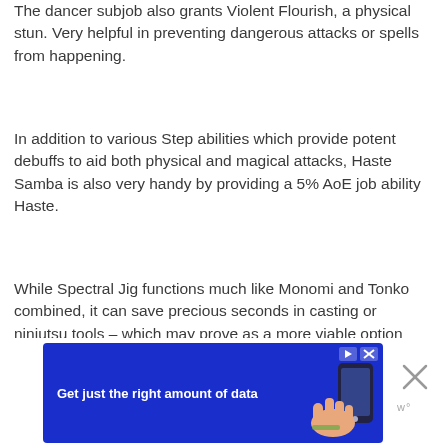The dancer subjob also grants Violent Flourish, a physical stun. Very helpful in preventing dangerous attacks or spells from happening.
In addition to various Step abilities which provide potent debuffs to aid both physical and magical attacks, Haste Samba is also very handy by providing a 5% AoE job ability Haste.
While Spectral Jig functions much like Monomi and Tonko combined, it can save precious seconds in casting or ninjutsu tools – which may prove as a more viable option depending on the situation.
[Figure (other): Advertisement banner: blue background with text 'Get just the right amount of data' and an image of a hand holding a phone]